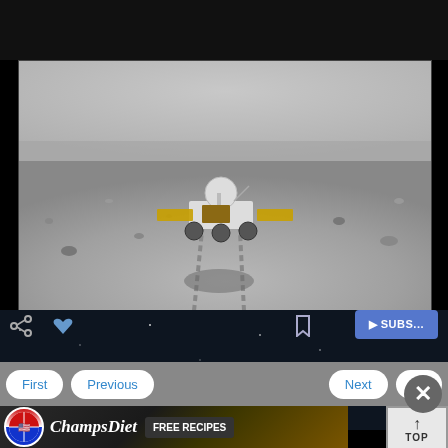[Figure (photo): Black and white photograph of a moon rover (likely Yutu/Jade Rabbit) on the lunar surface, with tracks visible in the regolith behind it. The rover has solar panels, a dish antenna, and is photographed from behind.]
First   Previous   Next   La...
[Figure (logo): ChampsDiet advertisement banner with a circular US flag icon, script text 'ChampsDiet', and a 'FREE RECIPES' button, overlaid on food imagery.]
TOP